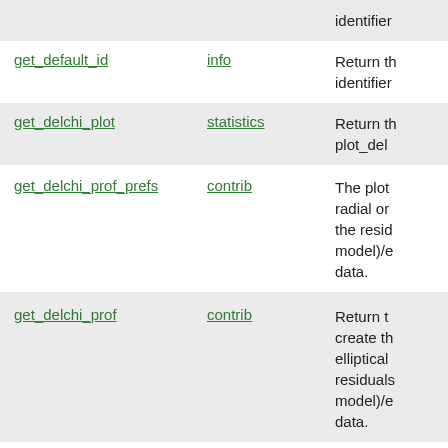| Function | Module | Description |
| --- | --- | --- |
|  |  | identifier |
| get_default_id | info | Return th identifier |
| get_delchi_plot | statistics | Return th plot_del |
| get_delchi_prof_prefs | contrib | The plot radial or the resid model)/e data. |
| get_delchi_prof | contrib | Return t create th elliptical residuals model)/e data. |